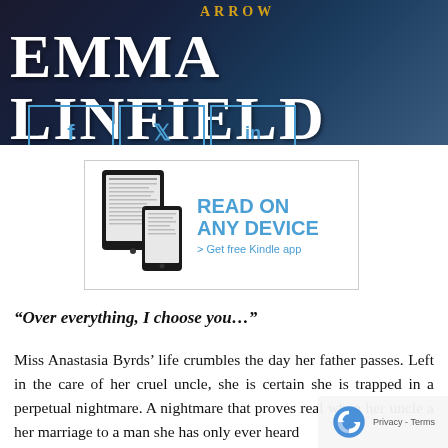[Figure (photo): Book cover banner for Emma Linfield with dark blue background and large white bold author name text. Social media icon boxes (Facebook, Twitter, LinkedIn) shown below.]
[Figure (infographic): Kindle advertisement banner: tablet and phone device images with text READ ON ANY DEVICE and > Get free Kindle app in blue]
“Over everything, I choose you…”
Miss Anastasia Byrds’ life crumbles the day her father passes. Left in the care of her cruel uncle, she is certain she is trapped in a perpetual nightmare. A nightmare that proves real when her uncle a her marriage to a man she has only ever heard